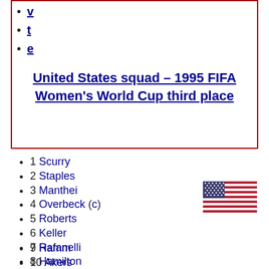v
t
e
United States squad – 1995 FIFA Women's World Cup third place
1 Scurry
2 Staples
3 Manthei
4 Overbeck (c)
5 Roberts
6 Keller
7 Rafanelli
8 Hamilton
9 Hamm
10 Akers
11 Foudy
12 Jennings-Gabarra
13 Lilly
14 Fawcett
15 Venturini
16 Milbrett
17 Lalor
18 Webber
19 Cromwell
[Figure (illustration): Flag of the United States]